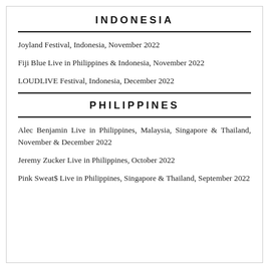INDONESIA
Joyland Festival, Indonesia, November 2022
Fiji Blue Live in Philippines & Indonesia, November 2022
LOUDLIVE Festival, Indonesia, December 2022
PHILIPPINES
Alec Benjamin Live in Philippines, Malaysia, Singapore & Thailand, November & December 2022
Jeremy Zucker Live in Philippines, October 2022
Pink Sweat$ Live in Philippines, Singapore & Thailand, September 2022